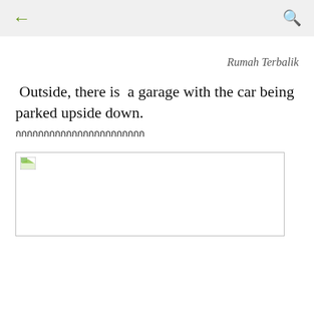← [back arrow]  [search icon]
Rumah Terbalik
Outside, there is  a garage with the car being parked upside down.
กกกกกกกกกกกกกกกกกกกกกกก
[Figure (photo): A broken/placeholder image in a bordered rectangle]